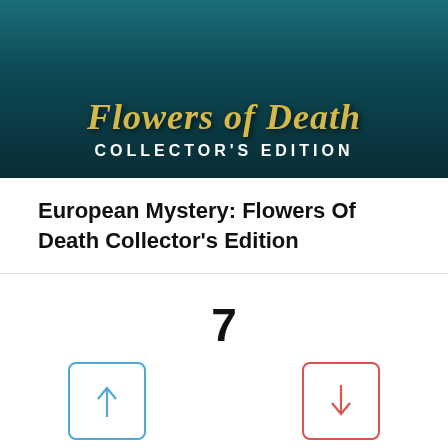[Figure (illustration): Game cover image for European Mystery: Flowers Of Death Collector's Edition showing stylized fantasy title text in gold on teal/dark background with subtitle COLLECTOR'S EDITION in white bold letters]
European Mystery: Flowers Of Death Collector's Edition
7
[Figure (infographic): Voting buttons: blue-bordered upvote button with up arrow (0 votes) and red-bordered downvote button with down arrow (0 votes)]
Mystery Trackers: Winterpoint Tragedy Collector's Edition